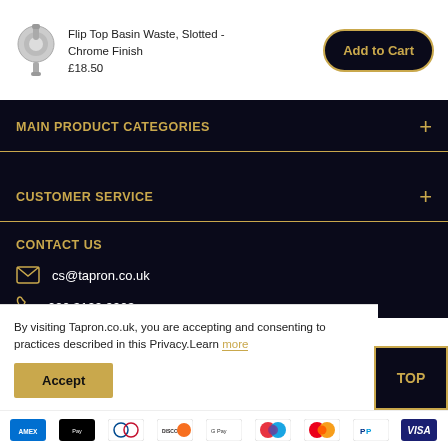[Figure (other): Product image of chrome flip top basin waste drain]
Flip Top Basin Waste, Slotted - Chrome Finish
£18.50
Add to Cart
MAIN PRODUCT CATEGORIES
CUSTOMER SERVICE
CONTACT US
cs@tapron.co.uk
020 3129 9903
By visiting Tapron.co.uk, you are accepting and consenting to practices described in this Privacy.Learn more
Accept
TOP
[Figure (other): Payment method icons: Amex, Apple Pay, Diners Club, Discover, Google Pay, Maestro, Mastercard, PayPal, Visa]